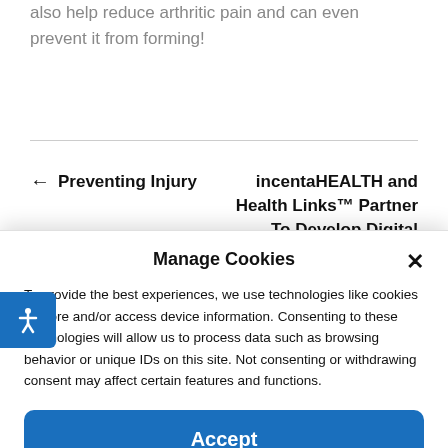also help reduce arthritic pain and can even prevent it from forming!
← Preventing Injury
incentaHEALTH and Health Links™ Partner To Develop Digital Diabetes
Manage Cookies
To provide the best experiences, we use technologies like cookies to store and/or access device information. Consenting to these technologies will allow us to process data such as browsing behavior or unique IDs on this site. Not consenting or withdrawing consent may affect certain features and functions.
Accept
Cookie Policy   Privacy